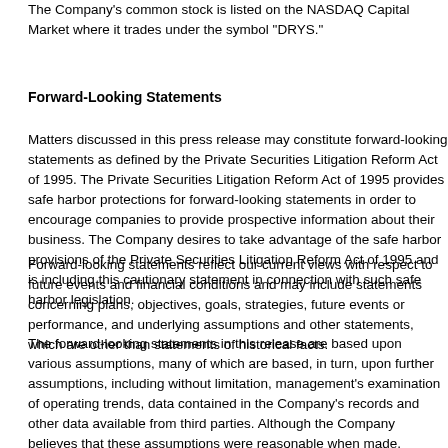The Company's common stock is listed on the NASDAQ Capital Market where it trades under the symbol "DRYS."
Forward-Looking Statements
Matters discussed in this press release may constitute forward-looking statements as defined by the Private Securities Litigation Reform Act of 1995. The Private Securities Litigation Reform Act of 1995 provides safe harbor protections for forward-looking statements in order to encourage companies to provide prospective information about their business. The Company desires to take advantage of the safe harbor provisions of the Private Securities Litigation Reform Act of 1995 and is including this cautionary statement in connection with such safe harbor legislation.
Forward-looking statements reflect our current views with respect to future events and financial conditions and may include statements concerning plans, objectives, goals, strategies, future events or performance, and underlying assumptions and other statements, which are other than statements of historical facts.
The forward-looking statements in this release are based upon various assumptions, many of which are based, in turn, upon further assumptions, including without limitation, management's examination of operating trends, data contained in the Company's records and other data available from third parties. Although the Company believes that these assumptions were reasonable when made, because these assumptions are inherently subject to significant uncertainties and contingencies which are difficult or impossible to predict and are beyond the Company's control, the Company can